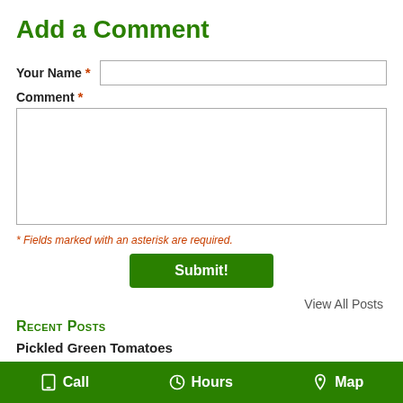Add a Comment
Your Name * [input field]
Comment * [textarea]
* Fields marked with an asterisk are required.
Submit!
View All Posts
Recent Posts
Pickled Green Tomatoes
Planting Early Spring Annuals
Cooking Chicken with Fresh Herbs
Call  Hours  Map